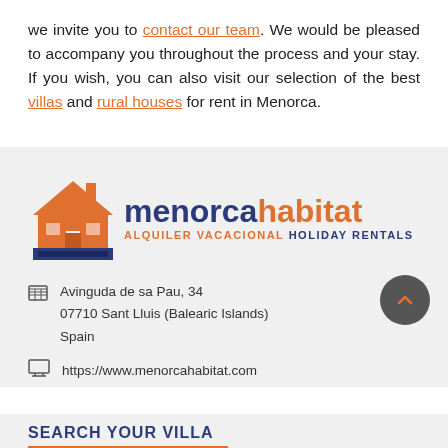we invite you to contact our team. We would be pleased to accompany you throughout the process and your stay. If you wish, you can also visit our selection of the best villas and rural houses for rent in Menorca.
[Figure (logo): Menorca Habitat logo with orange house icon and text 'menorcahabitat ALQUILER VACACIONAL HOLIDAY RENTALS']
Avinguda de sa Pau, 34
07710 Sant Lluis (Balearic Islands)
Spain
https://www.menorcahabitat.com
SEARCH YOUR VILLA